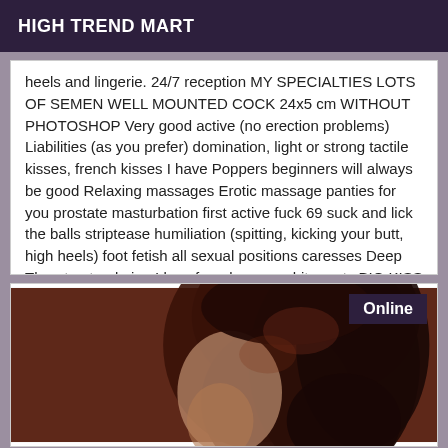HIGH TREND MART
heels and lingerie. 24/7 reception MY SPECIALTIES LOTS OF SEMEN WELL MOUNTED COCK 24x5 cm WITHOUT PHOTOSHOP Very good active (no erection problems) Liabilities (as you prefer) domination, light or strong tactile kisses, french kisses I have Poppers beginners will always be good Relaxing massages Erotic massage panties for you prostate masturbation first active fuck 69 suck and lick the balls striptease humiliation (spitting, kicking your butt, high heels) foot fetish all sexual positions caresses Deep Throat natural pipe I love foreplay pee white party BIG KISS
[Figure (photo): Partial view of a person with dark reddish-brown hair, with an 'Online' badge in the upper right corner]